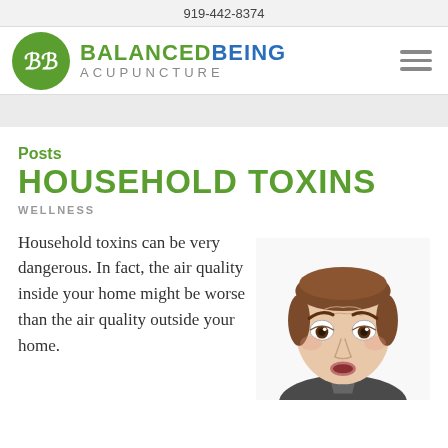919-442-8374
[Figure (logo): Balanced Being Acupuncture logo with green circle BB icon and text BALANCED BEING ACUPUNCTURE]
Posts
HOUSEHOLD TOXINS
WELLNESS
Household toxins can be very dangerous. In fact, the air quality inside your home might be worse than the air quality outside your home.
[Figure (photo): A woman with wide surprised eyes and raised eyebrows, brown hair, looking alarmed or shocked, head and shoulders visible, white background]